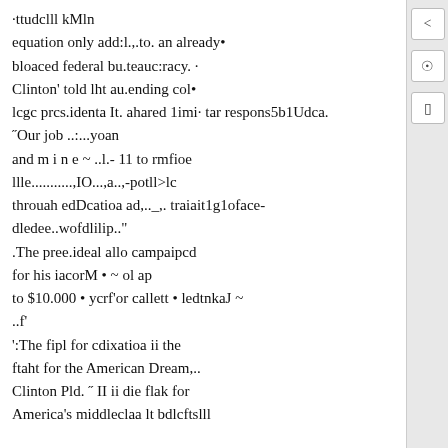·ttudclll kMln
equation only add:l.,.to. an already•
bloaced federal bu.teauc:racy. ·
Clinton' told lht au.ending col•
lcgc prcs.identa It. ahared 1imi· tar respons5b1Udca.
˝Our job ..:...yoan
and m i n e ~ ..l.- 11 to rmfioe
llle...........,IO...,a..,-potll>lc
throuah edDcatioa ad,.._,. traiait1g1oface-
dledee..wofdlilip.."
.The pree.ideal allo campaipcd
for his iacorM • ~ ol ap
to $10.000 • ycrf'or callett • ledtnkaJ ~
..f'
':The fipl for cdixatioa ii the
ftaht for the American Dream,..
Clinton Pld. ˝ II ii die flak for
America's middleclaa lt bdlcftslll